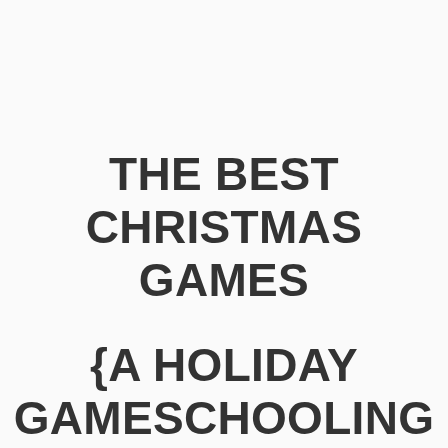THE BEST CHRISTMAS GAMES {A HOLIDAY GAMESCHOOLING